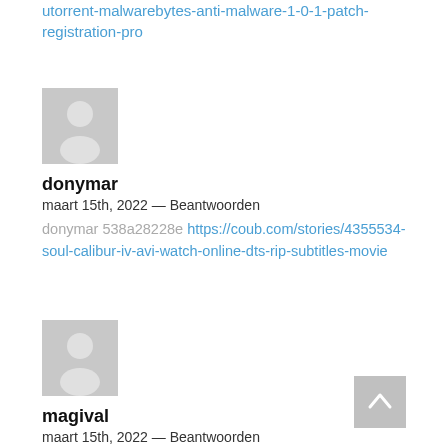utorrent-malwarebytes-anti-malware-1-0-1-patch-registration-pro
[Figure (illustration): Grey placeholder avatar icon for user donymar]
donymar
maart 15th, 2022 — Beantwoorden
donymar 538a28228e https://coub.com/stories/4355534-soul-calibur-iv-avi-watch-online-dts-rip-subtitles-movie
[Figure (illustration): Grey placeholder avatar icon for user magival]
magival
maart 15th, 2022 — Beantwoorden